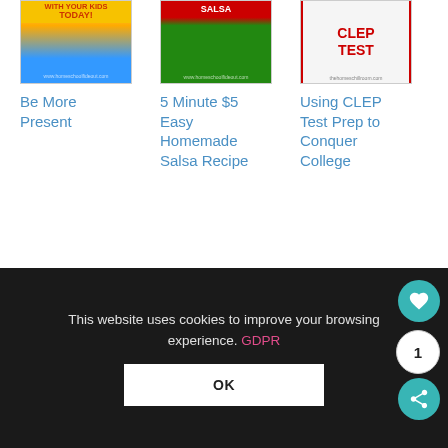[Figure (screenshot): Card grid with three article previews: 'Be More Present', '5 Minute $5 Easy Homemade Salsa Recipe', 'Using CLEP Test Prep to Conquer College']
Be More Present
5 Minute $5 Easy Homemade Salsa Recipe
Using CLEP Test Prep to Conquer College
[Figure (screenshot): Gray advertisement/banner area]
Get instant access to our FREE resources
This website uses cookies to improve your browsing experience. GDPR
OK